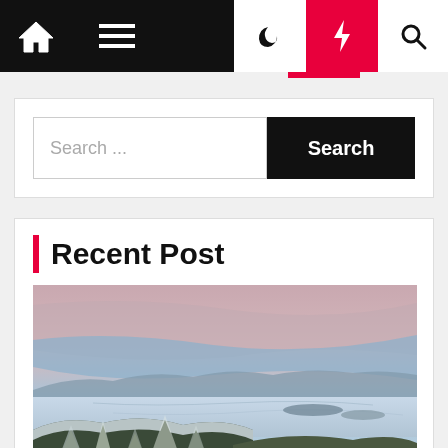Navigation bar with home icon, menu icon, moon icon, bolt icon, search icon
Search ...
Search
Recent Post
[Figure (photo): Winter mountain landscape viewed from a summit. Snow-covered evergreen trees in the foreground, a large frozen lake or fjord in the middle distance, mountain ridges on the horizon, and a dramatic sky with layered pink and blue clouds.]